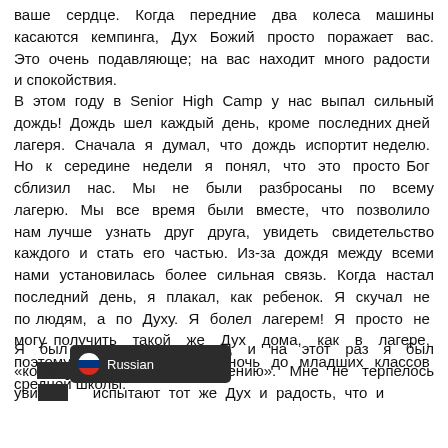ваше сердце. Когда передние два колеса машины касаются кемпинга, Дух Божий просто поражает вас. Это очень подавляюще; на вас находит много радости и спокойствия.
В этом году в Senior High Camp у нас выпал сильный дождь! Дождь шел каждый день, кроме последних дней лагеря. Сначала я думал, что дождь испортит неделю. Но к середине недели я понял, что это просто Бог сблизил нас. Мы не были разбросаны по всему лагерю. Мы все время были вместе, что позволило нам лучше узнать друг друга, увидеть свидетельство каждого и стать его частью. Из-за дождя между всеми нами установилась более сильная связь. Когда настал последний день, я плакал, как ребенок. Я скучал не по людям, а по Духу. Я болел лагерем! Я просто не могу получить такой же Дух дома, как в лагере, поэтому я плакала каждую ночь до младших классов средней школы.
Я был так рад вернуться, и на этот раз я был «ко... по обучению». Мне не терпелось уви... испытают тот же Дух и радость, что и